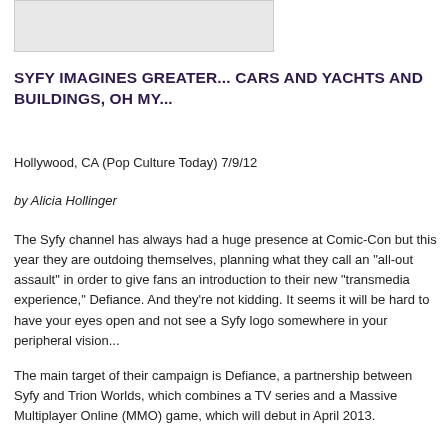[Figure (photo): Partial image visible at top of page, appears to be a light-colored photograph cropped to show only the bottom portion]
SYFY IMAGINES GREATER... CARS AND YACHTS AND BUILDINGS, OH MY...
Hollywood, CA (Pop Culture Today) 7/9/12
by Alicia Hollinger
The Syfy channel has always had a huge presence at Comic-Con but this year they are outdoing themselves, planning what they call an "all-out assault" in order to give fans an introduction to their new "transmedia experience," Defiance. And they're not kidding. It seems it will be hard to have your eyes open and not see a Syfy logo somewhere in your peripheral vision...
The main target of their campaign is Defiance, a partnership between Syfy and Trion Worlds, which combines a TV series and a Massive Multiplayer Online (MMO) game, which will debut in April 2013.